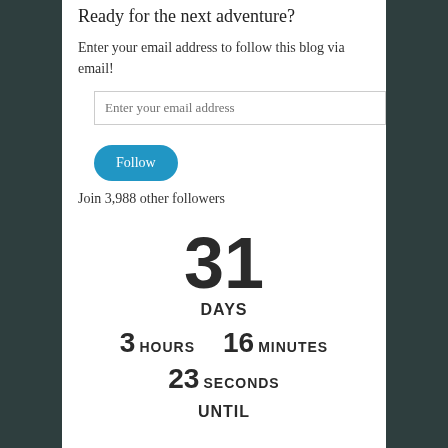Ready for the next adventure?
Enter your email address to follow this blog via email!
Enter your email address
Follow
Join 3,988 other followers
31 DAYS 3 HOURS 16 MINUTES 23 SECONDS UNTIL